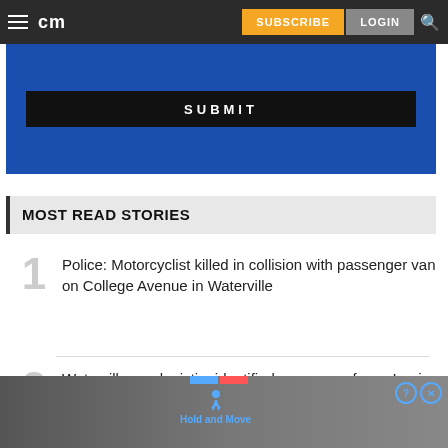cm | SUBSCRIBE | LOGIN
[Figure (screenshot): Blue banner with dark submit button area]
MOST READ STORIES
1. Police: Motorcyclist killed in collision with passenger van on College Avenue in Waterville
2. Waterville crash victim identified as owner of new Iraqi market and deli
[Figure (photo): Ad banner: Hold and Move advertisement with trees background and close/help icons]